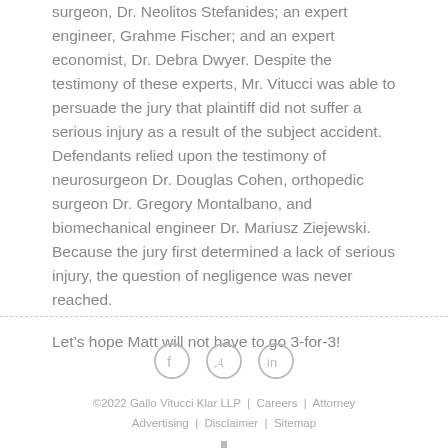surgeon, Dr. Neolitos Stefanides; an expert engineer, Grahme Fischer; and an expert economist, Dr. Debra Dwyer. Despite the testimony of these experts, Mr. Vitucci was able to persuade the jury that plaintiff did not suffer a serious injury as a result of the subject accident. Defendants relied upon the testimony of neurosurgeon Dr. Douglas Cohen, orthopedic surgeon Dr. Gregory Montalbano, and biomechanical engineer Dr. Mariusz Ziejewski. Because the jury first determined a lack of serious injury, the question of negligence was never reached.
Let’s hope Matt will not have to go 3-for-3!
©2022 Gallo Vitucci Klar LLP  |  Careers  |  Attorney Advertising  |  Disclaimer  |  Sitemap